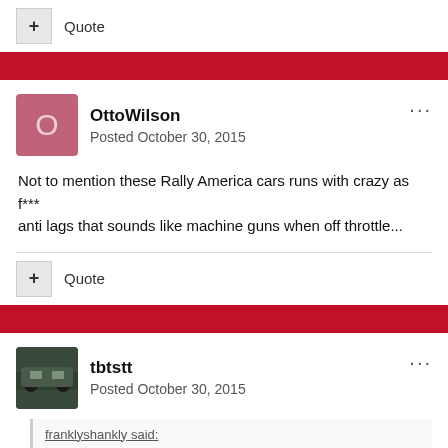+ Quote
OttoWilson
Posted October 30, 2015
Not to mention these Rally America cars runs with crazy as f*** anti lags that sounds like machine guns when off throttle...
+ Quote
tbtstt
Posted October 30, 2015
franklyshankly said: